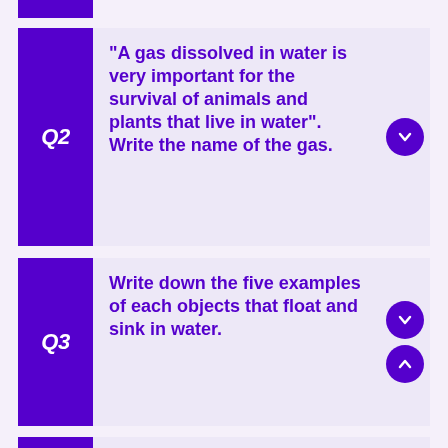Q2 "A gas dissolved in water is very important for the survival of animals and plants that live in water". Write the name of the gas.
Q3 Write down the five examples of each objects that float and sink in water.
Q4 What is "transparent"? Give one example where transparent materials of